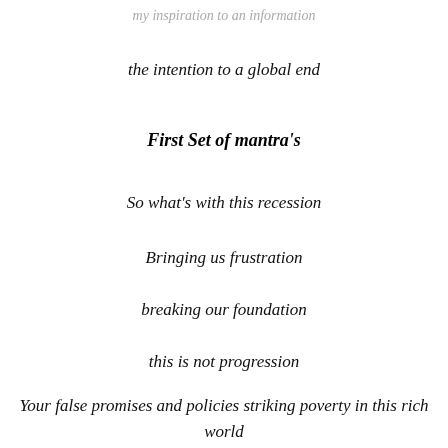the intention to a global end
First Set of mantra's
So what's with this recession
Bringing us frustration
breaking our foundation
this is not progression
Your false promises and policies striking poverty in this rich world